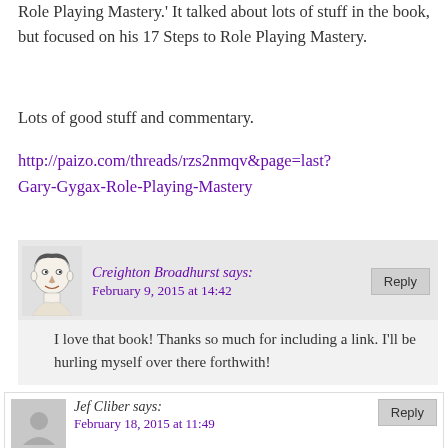Role Playing Mastery.' It talked about lots of stuff in the book, but focused on his 17 Steps to Role Playing Mastery.
Lots of good stuff and commentary.
http://paizo.com/threads/rzs2nmqv&page=last?Gary-Gygax-Role-Playing-Mastery
Creighton Broadhurst says: February 9, 2015 at 14:42
I love that book! Thanks so much for including a link. I'll be hurling myself over there forthwith!
Jef Cliber says: February 18, 2015 at 11:49